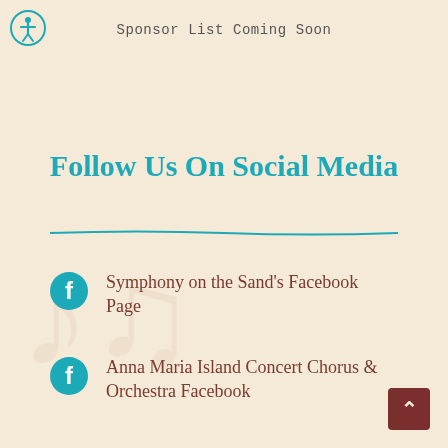[Figure (illustration): Accessibility icon - circle with person figure, teal border]
Sponsor List Coming Soon
Follow Us On Social Media
Symphony on the Sand's Facebook Page
Anna Maria Island Concert Chorus & Orchestra Facebook
[Figure (illustration): Back to top arrow button, dark red square]